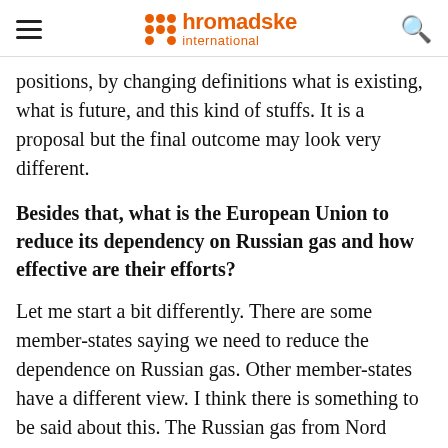hromadske international
positions, by changing definitions what is existing, what is future, and this kind of stuffs. It is a proposal but the final outcome may look very different.
Besides that, what is the European Union to reduce its dependency on Russian gas and how effective are their efforts?
Let me start a bit differently. There are some member-states saying we need to reduce the dependence on Russian gas. Other member-states have a different view. I think there is something to be said about this. The Russian gas from Nord Stream 2 and Nord Stream 1, as well, goes into the Western European market. And that Western European